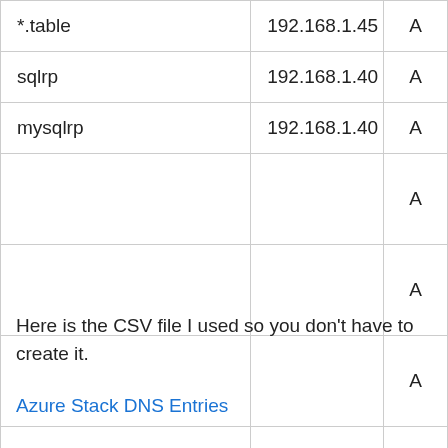| *.table | 192.168.1.45 | A |
| sqlrp | 192.168.1.40 | A |
| mysqlrp | 192.168.1.40 | A |
|  |  | A |
|  |  | A |
|  |  | A |
|  |  | A |
Here is the CSV file I used so you don't have to create it.
Azure Stack DNS Entries